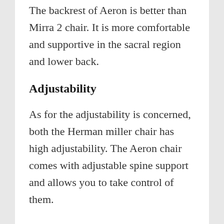The backrest of Aeron is better than Mirra 2 chair. It is more comfortable and supportive in the sacral region and lower back.
Adjustability
As for the adjustability is concerned, both the Herman miller chair has high adjustability. The Aeron chair comes with adjustable spine support and allows you to take control of them.
Also the high-end level adjustable options for the armrests. The seat height adjustment provides optimal